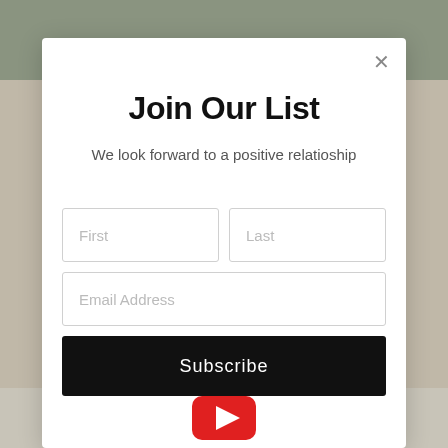[Figure (screenshot): Background showing a blurred outdoor/website scene with green hills and pavement area visible at edges around a modal dialog]
Join Our List
We look forward to a positive relatioship
First
Last
Email Address
Subscribe
[Figure (logo): YouTube play button logo icon in red and white at the bottom center]